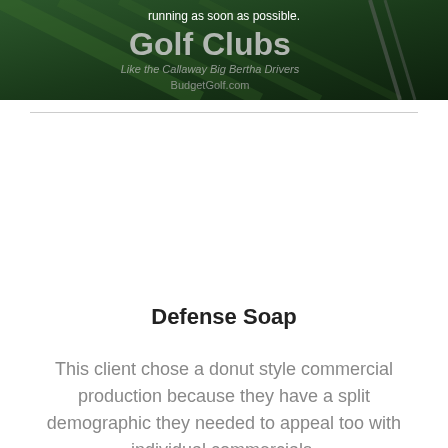[Figure (photo): Dark green golf club advertisement banner with large text 'Golf Clubs' and italic subtitle 'Like the Callaway Big Bertha Drivers' and website 'BudgetGolf.com'. White text 'running as soon as possible.' overlaid on top portion.]
Defense Soap
This client chose a donut style commercial production because they have a split demographic they needed to appeal too with individual commercials.